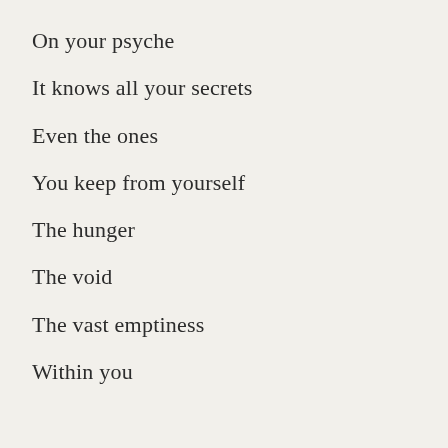On your psyche
It knows all your secrets
Even the ones
You keep from yourself
The hunger
The void
The vast emptiness
Within you